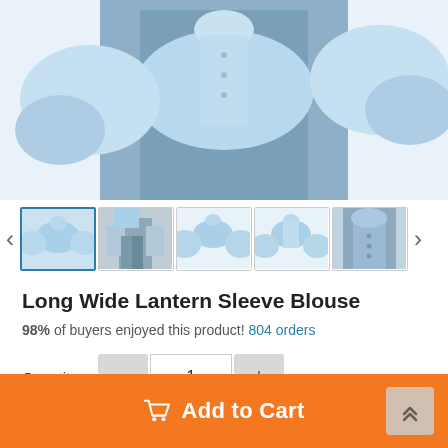[Figure (photo): Main product photo showing a light blue lantern sleeve blouse worn by a model, cropped to show torso and arms with puffy wide sleeves against a white background.]
[Figure (photo): Thumbnail strip with 5 product photos: (1) light blue blouse with lantern sleeves front view, (2) street style photo of person wearing blue blouse with denim skirt, (3) front view of light blue blouse isolated, (4) another front view of light blue blouse isolated, (5) close-up of denim collar/neckline area.]
Long Wide Lantern Sleeve Blouse
98% of buyers enjoyed this product! 804 orders
Quantity: 1
Add to Cart